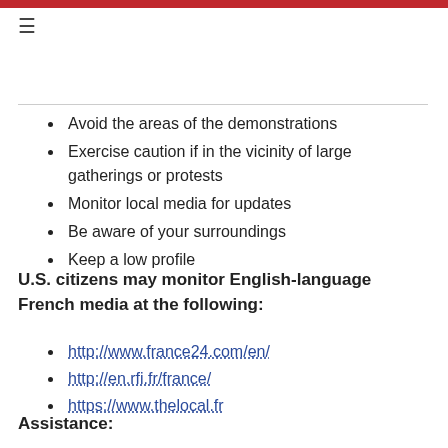Avoid the areas of the demonstrations
Exercise caution if in the vicinity of large gatherings or protests
Monitor local media for updates
Be aware of your surroundings
Keep a low profile
U.S. citizens may monitor English-language French media at the following:
http://www.france24.com/en/
http://en.rfi.fr/france/
https://www.thelocal.fr
Assistance: